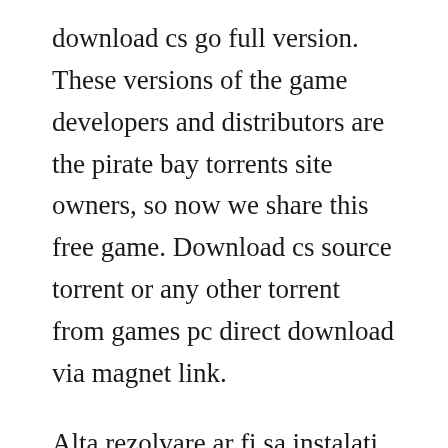download cs go full version. These versions of the game developers and distributors are the pirate bay torrents site owners, so now we share this free game. Download cs source torrent or any other torrent from games pc direct download via magnet link.
Alta rezolvare ar fi sa instalati cs ul in alta partitie. Download portal 1 torrent or any other torrent from games pc direct download via magnet link. Play the worlds number 1 online action game for free. Counterstrike source v34 by vulcancss download torrent tpb.